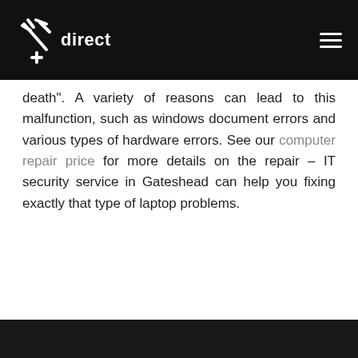IT direct logo and navigation header
death". A variety of reasons can lead to this malfunction, such as windows document errors and various types of hardware errors. See our computer repair price for more details on the repair – IT security service in Gateshead can help you fixing exactly that type of laptop problems.
Our website uses cookies. By browsing the website you agree to cookies being used in accordance with our Cookie Policy. If you don't agree you can disable cookies – see the Privacy Policy for more details.
OK   PRIVACY POLICY